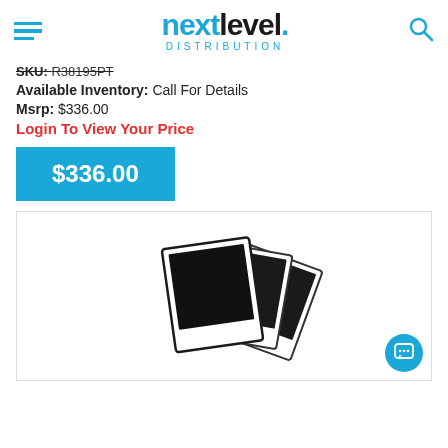nextlevel. DISTRIBUTION
SKU: R38195PT
Available Inventory: Call For Details
Msrp: $336.00
Login To View Your Price
$336.00
[Figure (illustration): Three overlapping polaroid-style photo placeholders with black centers arranged in a fan pattern, indicating no product image is available]